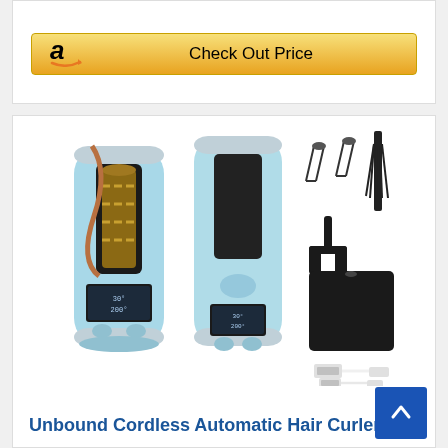[Figure (screenshot): Amazon 'Check Out Price' button with Amazon logo on gold/yellow gradient background]
[Figure (photo): Product photo of Unbound Cordless Automatic Hair Curler in light blue/teal color, showing two angles of the device along with accessories including hair clips, a comb, a black pouch, and USB charging cable]
Unbound Cordless Automatic Hair Curler,...